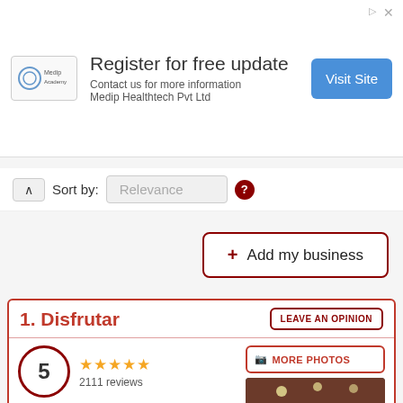[Figure (infographic): Advertisement banner for Medip Academy. Text: Register for free update. Contact us for more information. Medip Healthtech Pvt Ltd. Blue Visit Site button.]
Sort by: Relevance
+ Add my business
1. Disfrutar
LEAVE AN OPINION
5 ★★★★★ 2111 reviews
MORE PHOTOS
Location
★★★★★ 5
Price/Quality